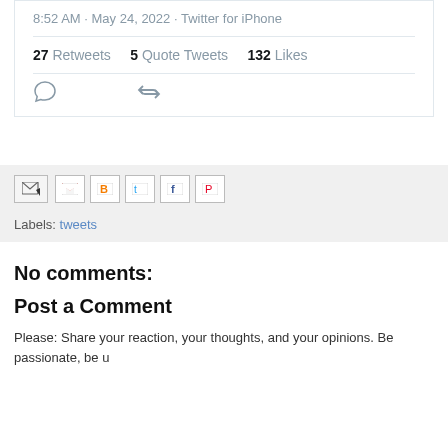8:52 AM · May 24, 2022 · Twitter for iPhone
27 Retweets   5 Quote Tweets   132 Likes
[Figure (other): Tweet action icons: reply bubble and retweet arrows]
[Figure (other): Share bar with email and social media icons]
Labels: tweets
No comments:
Post a Comment
Please: Share your reaction, your thoughts, and your opinions. Be passionate, be u...